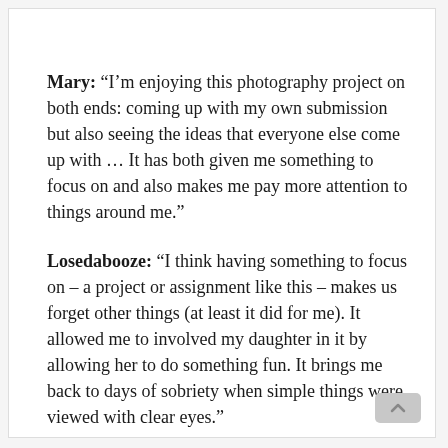Mary: “I’m enjoying this photography project on both ends: coming up with my own submission but also seeing the ideas that everyone else come up with … It has both given me something to focus on and also makes me pay more attention to things around me.”
Losedabooze: “I think having something to focus on – a project or assignment like this – makes us forget other things (at least it did for me). It allowed me to involved my daughter in it by allowing her to do something fun. It brings me back to days of sobriety when simple things were viewed with clear eyes.”